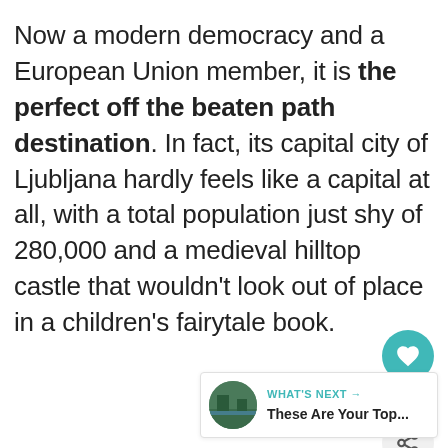Now a modern democracy and a European Union member, it is the perfect off the beaten path destination. In fact, its capital city of Ljubljana hardly feels like a capital at all, with a total population just shy of 280,000 and a medieval hilltop castle that wouldn't look out of place in a children's fairytale book.
[Figure (other): UI interaction panel with a teal heart/like button, a count of 757, and a share button]
[Figure (other): What's Next recommendation widget showing a thumbnail image and text 'These Are Your Top...']